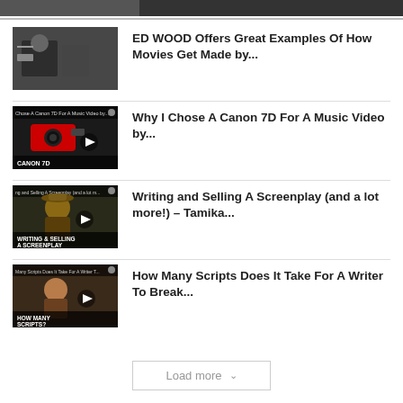ED WOOD Offers Great Examples Of How Movies Get Made by...
Why I Chose A Canon 7D For A Music Video by...
Writing and Selling A Screenplay (and a lot more!) – Tamika...
How Many Scripts Does It Take For A Writer To Break...
Load more